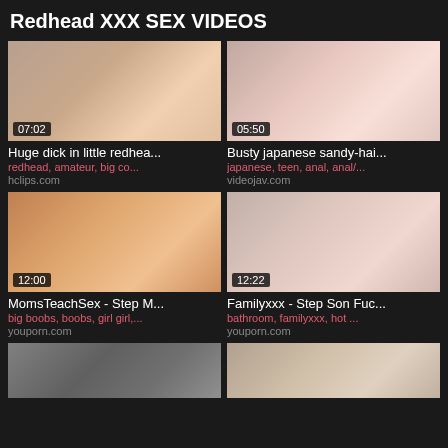Redhead XXX SEX VIDEOS
[Figure (screenshot): Video thumbnail - Huge dick in little redhead, duration 07:02]
Huge dick in little redhea...
redhead, amateur, big co...
hclips.com
[Figure (screenshot): Video thumbnail - Busty japanese sandy-hai..., duration 05:50]
Busty japanese sandy-hai...
japanese, teen, anal, anal/...
videojav.com
[Figure (screenshot): Video thumbnail - MomsTeachSex - Step M..., duration 12:00]
MomsTeachSex - Step M...
big boobs, boobs, girl girl,...
youporn.com
[Figure (screenshot): Video thumbnail - Familyxxx - Step Son Fuc..., duration 12:22]
Familyxxx - Step Son Fuc...
bathroom, familyxxx, hot ...
youporn.com
[Figure (screenshot): Partially visible video thumbnail (bottom left)]
[Figure (screenshot): Partially visible video thumbnail (bottom right)]